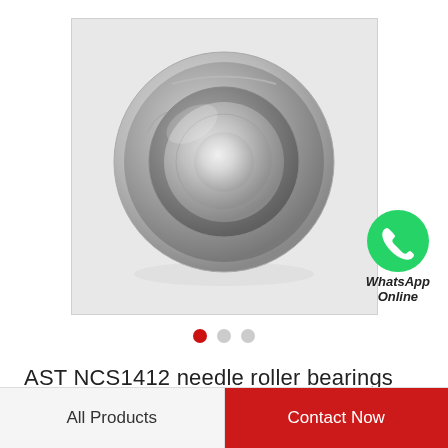[Figure (photo): Close-up photo of a metal ball bearing (AST NCS1412 needle roller bearing) on a white/light grey background. The bearing is silver/steel colored, circular with visible inner and outer races.]
[Figure (logo): WhatsApp green circle logo icon with white phone handset, labeled 'WhatsApp Online' in bold italic text below.]
AST NCS1412 needle roller bearings
All Products
Contact Now